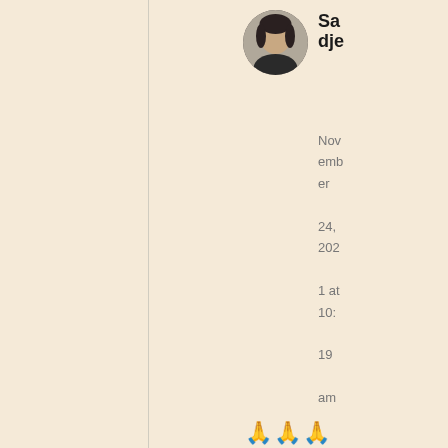[Figure (photo): Circular profile photo of a person with dark hair wearing dark clothing]
Sadje
November 24, 2021 at 10:19 am
🙏🙏🙏
★
Liked by 1 person
Log in to